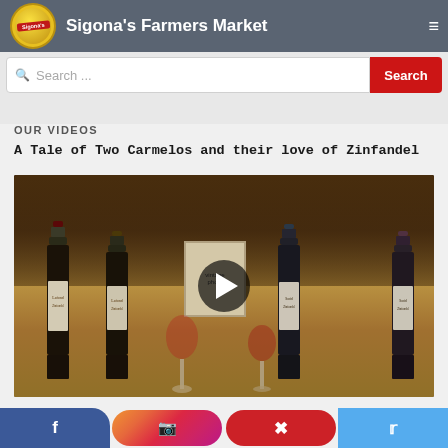Sigona's Farmers Market
Search ...
OUR VIDEOS
A Tale of Two Carmelos and their love of Zinfandel
[Figure (screenshot): Video thumbnail showing four wine bottles (two Lafond and two Sorid labels) on a granite counter with wine glasses and a vintage black-and-white wedding photo in the background, with a YouTube-style play button overlay in the center.]
Facebook | Instagram | Pinterest | Twitter social media links